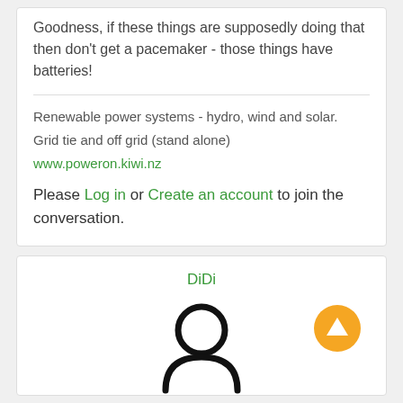Goodness, if these things are supposedly doing that then don't get a pacemaker - those things have batteries!
Renewable power systems - hydro, wind and solar.
Grid tie and off grid (stand alone)
www.poweron.kiwi.nz
Please Log in or Create an account to join the conversation.
DiDi
[Figure (illustration): Generic user avatar icon (circle head and arc body in black outline) with an orange circular up-arrow button in the top right corner]